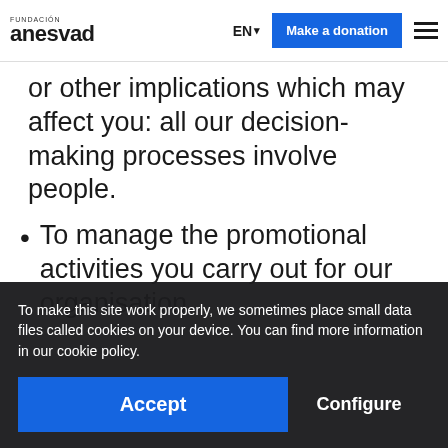FUNDACIÓN anesvad | EN | Make a donation
or other implications which may affect you: all our decision-making processes involve people.
To manage the promotional activities you carry out for our organisation.
To make this site work properly, we sometimes place small data files called cookies on your device. You can find more information in our cookie policy.
Accept | Configure